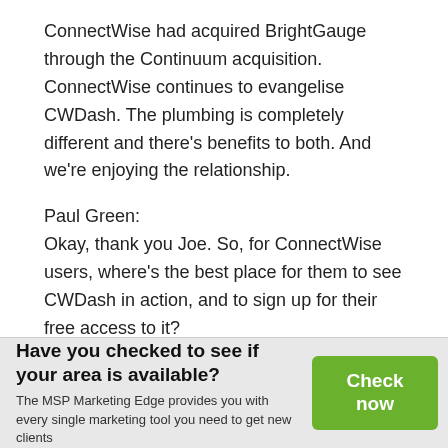ConnectWise had acquired BrightGauge through the Continuum acquisition. ConnectWise continues to evangelise CWDash. The plumbing is completely different and there's benefits to both. And we're enjoying the relationship.
Paul Green:
Okay, thank you Joe. So, for ConnectWise users, where's the best place for them to see CWDash in action, and to sign up for their free access to it?
Have you checked to see if your area is available?
The MSP Marketing Edge provides you with every single marketing tool you need to get new clients
Check now